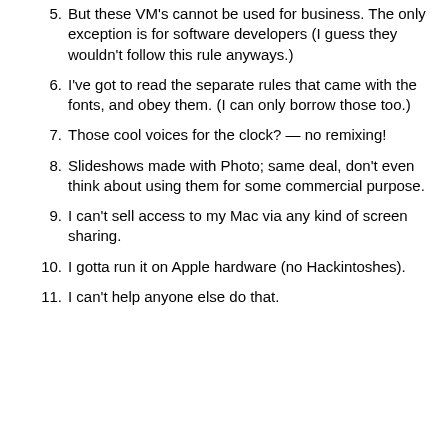5. But these VM's cannot be used for business. The only exception is for software developers (I guess they wouldn't follow this rule anyways.)
6. I've got to read the separate rules that came with the fonts, and obey them. (I can only borrow those too.)
7. Those cool voices for the clock? — no remixing!
8. Slideshows made with Photo; same deal, don't even think about using them for some commercial purpose.
9. I can't sell access to my Mac via any kind of screen sharing.
10. I gotta run it on Apple hardware (no Hackintoshes).
11. I can't help anyone else do that.